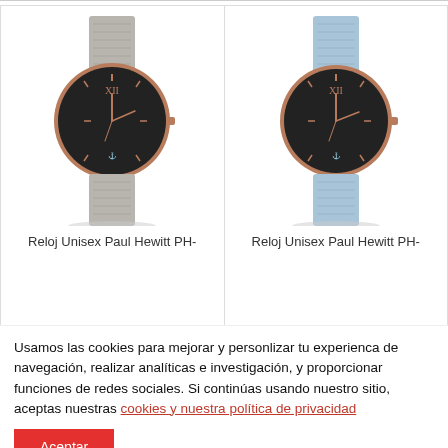[Figure (photo): Reloj Unisex Paul Hewitt watch with dark face and grey mesh band]
[Figure (photo): Reloj Unisex Paul Hewitt watch with dark face and blue textured band]
Reloj Unisex Paul Hewitt PH-
Reloj Unisex Paul Hewitt PH-
Usamos las cookies para mejorar y personlizar tu experienca de navegación, realizar analíticas e investigación, y proporcionar funciones de redes sociales. Si continúas usando nuestro sitio, aceptas nuestras cookies y nuestra política de privacidad
Aceptar